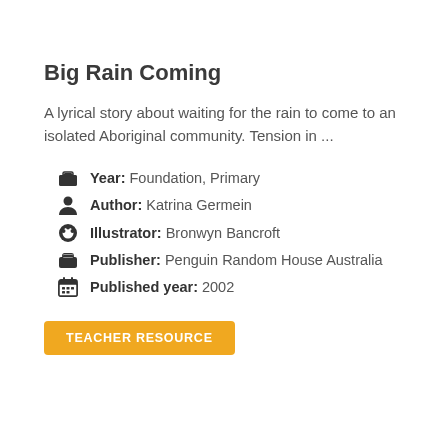Big Rain Coming
A lyrical story about waiting for the rain to come to an isolated Aboriginal community. Tension in ...
Year: Foundation, Primary
Author: Katrina Germein
Illustrator: Bronwyn Bancroft
Publisher: Penguin Random House Australia
Published year: 2002
TEACHER RESOURCE